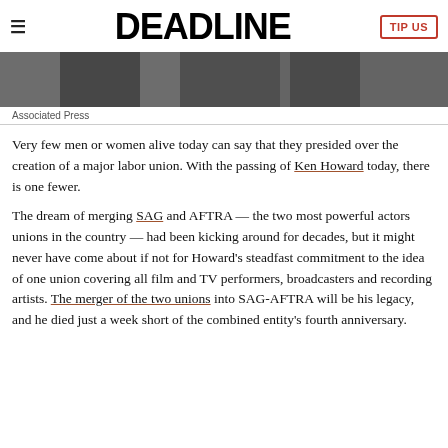DEADLINE
[Figure (photo): Cropped photo of a person in dark clothing, only lower portion visible]
Associated Press
Very few men or women alive today can say that they presided over the creation of a major labor union. With the passing of Ken Howard today, there is one fewer.
The dream of merging SAG and AFTRA — the two most powerful actors unions in the country — had been kicking around for decades, but it might never have come about if not for Howard's steadfast commitment to the idea of one union covering all film and TV performers, broadcasters and recording artists. The merger of the two unions into SAG-AFTRA will be his legacy, and he died just a week short of the combined entity's fourth anniversary.